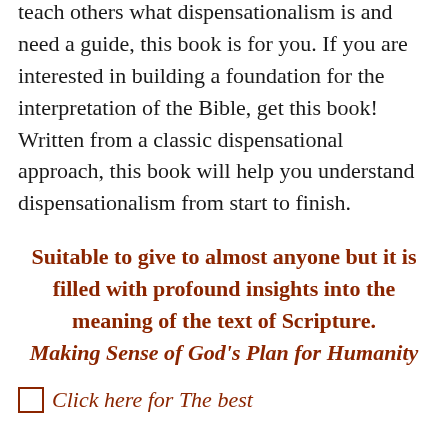teach others what dispensationalism is and need a guide, this book is for you. If you are interested in building a foundation for the interpretation of the Bible, get this book! Written from a classic dispensational approach, this book will help you understand dispensationalism from start to finish.
Suitable to give to almost anyone but it is filled with profound insights into the meaning of the text of Scripture. Making Sense of God's Plan for Humanity
Click here for The Best